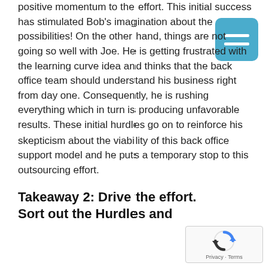positive momentum to the effort. This initial success has stimulated Bob's imagination about the possibilities! On the other hand, things are not going so well with Joe. He is getting frustrated with the learning curve idea and thinks that the back office team should understand his business right from day one. Consequently, he is rushing everything which in turn is producing unfavorable results. These initial hurdles go on to reinforce his skepticism about the viability of this back office support model and he puts a temporary stop to this outsourcing effort.
Takeaway 2: Drive the effort. Sort out the Hurdles and
[Figure (other): Blue square menu/hamburger icon with two white horizontal bars]
[Figure (other): reCAPTCHA privacy widget with rotating arrow logo and Privacy · Terms text]